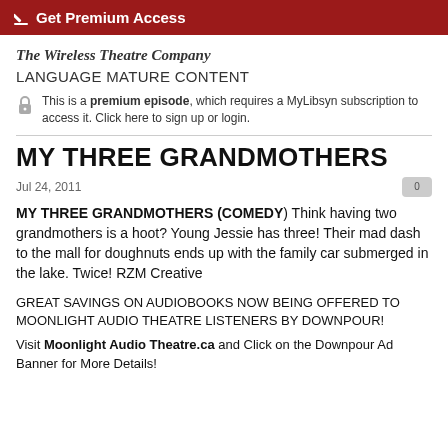Get Premium Access
The Wireless Theatre Company
LANGUAGE MATURE CONTENT
This is a premium episode, which requires a MyLibsyn subscription to access it. Click here to sign up or login.
MY THREE GRANDMOTHERS
Jul 24, 2011
MY THREE GRANDMOTHERS (COMEDY) Think having two grandmothers is a hoot? Young Jessie has three! Their mad dash to the mall for doughnuts ends up with the family car submerged in the lake. Twice! RZM Creative
GREAT SAVINGS ON AUDIOBOOKS NOW BEING OFFERED TO MOONLIGHT AUDIO THEATRE LISTENERS BY DOWNPOUR!
Visit Moonlight Audio Theatre.ca and Click on the Downpour Ad Banner for More Details!